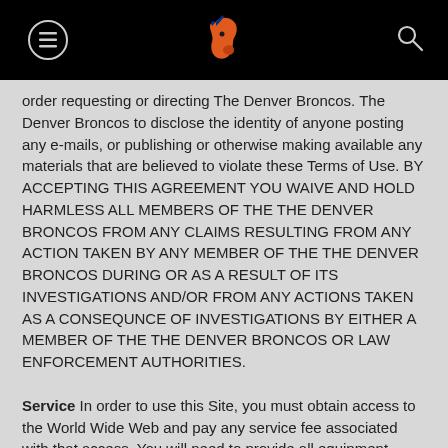Denver Broncos navigation header with logo
order requesting or directing The Denver Broncos. The Denver Broncos to disclose the identity of anyone posting any e-mails, or publishing or otherwise making available any materials that are believed to violate these Terms of Use. BY ACCEPTING THIS AGREEMENT YOU WAIVE AND HOLD HARMLESS ALL MEMBERS OF THE THE DENVER BRONCOS FROM ANY CLAIMS RESULTING FROM ANY ACTION TAKEN BY ANY MEMBER OF THE THE DENVER BRONCOS DURING OR AS A RESULT OF ITS INVESTIGATIONS AND/OR FROM ANY ACTIONS TAKEN AS A CONSEQUNCE OF INVESTIGATIONS BY EITHER A MEMBER OF THE THE DENVER BRONCOS OR LAW ENFORCEMENT AUTHORITIES.
Service In order to use this Site, you must obtain access to the World Wide Web and pay any service fee associated with that access. You will need to provide all equipment necessary to connect to the Site on the World Wide Web (including a computer, modem and/or other access devices).